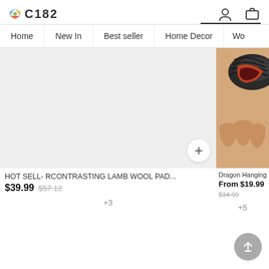C182 — logo with nav icons (user, cart)
Home
New In
Best seller
Home Decor
Wo...
[Figure (photo): Light grey placeholder product image with + button]
HOT SELL- RCONTRASTING LAMB WOOL PAD...
$39.99  $57.12
+3
[Figure (photo): Close-up photo of a hand holding a dark braided item with orange interior lining]
Dragon Hanging Staine...
From $19.99  $34.99
+5